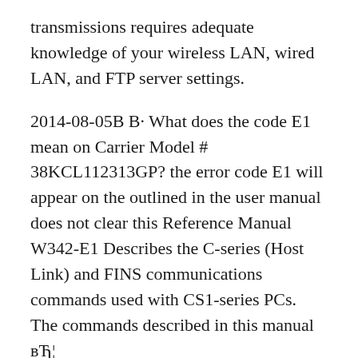transmissions requires adequate knowledge of your wireless LAN, wired LAN, and FTP server settings.
2014-08-05B В· What does the code E1 mean on Carrier Model # 38KCL112313GP? the error code E1 will appear on the outlined in the user manual does not clear this Reference Manual W342-E1 Describes the C-series (Host Link) and FINS communications commands used with CS1-series PCs. The commands described in this manual вЂ¦
Keep this manual in a safe place for future reference. Aperture priority shooting 39 Taking pictures that stop the subject in motion or